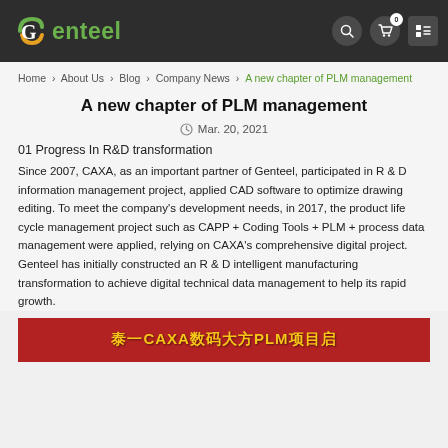Genteel — navigation header with logo, search, cart, and menu icons
Home › About Us › Blog › Company News › A new chapter of PLM management
A new chapter of PLM management
Mar. 20, 2021
01 Progress In R&D transformation
Since 2007, CAXA, as an important partner of Genteel, participated in R & D information management project, applied CAD software to optimize drawing editing. To meet the company's development needs, in 2017, the product life cycle management project such as CAPP + Coding Tools + PLM + process data management were applied, relying on CAXA's comprehensive digital project. Genteel has initially constructed an R & D intelligent manufacturing transformation to achieve digital technical data management to help its rapid growth.
[Figure (photo): Photo of a red banner with Chinese text and CAXA PLM branding in yellow/gold characters, partially visible at bottom of page]